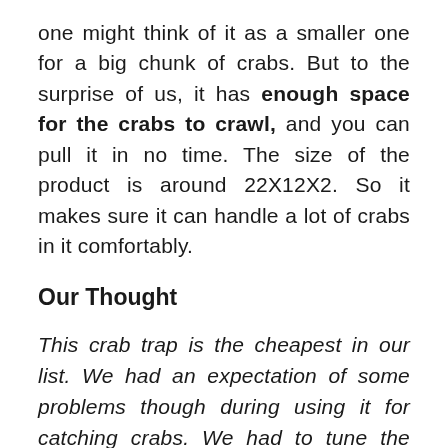one might think of it as a smaller one for a big chunk of crabs. But to the surprise of us, it has enough space for the crabs to crawl, and you can pull it in no time. The size of the product is around 22X12X2. So it makes sure it can handle a lot of crabs in it comfortably.
Our Thought
This crab trap is the cheapest in our list. We had an expectation of some problems though during using it for catching crabs. We had to tune the trap with tightening the